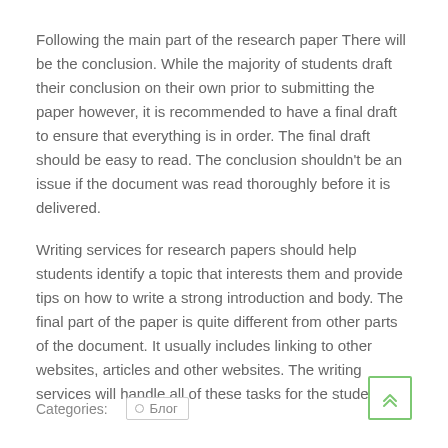Following the main part of the research paper There will be the conclusion. While the majority of students draft their conclusion on their own prior to submitting the paper however, it is recommended to have a final draft to ensure that everything is in order. The final draft should be easy to read. The conclusion shouldn't be an issue if the document was read thoroughly before it is delivered.
Writing services for research papers should help students identify a topic that interests them and provide tips on how to write a strong introduction and body. The final part of the paper is quite different from other parts of the document. It usually includes linking to other websites, articles and other websites. The writing services will handle all of these tasks for the student.
Categories:   ○  Блог